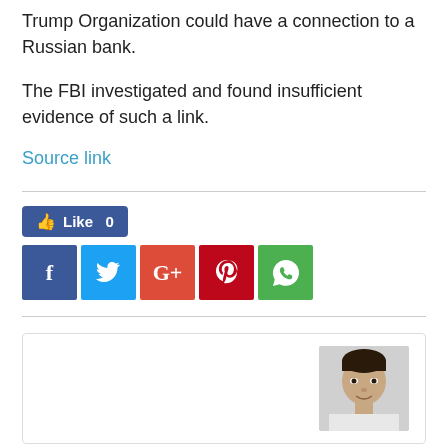Trump Organization could have a connection to a Russian bank.
The FBI investigated and found insufficient evidence of such a link.
Source link
[Figure (infographic): Social sharing buttons: Facebook Like button showing 0 likes, followed by Facebook, Twitter, Google+, Pinterest, and WhatsApp share icons]
[Figure (photo): Author profile photo of a young man in a light-colored shirt]